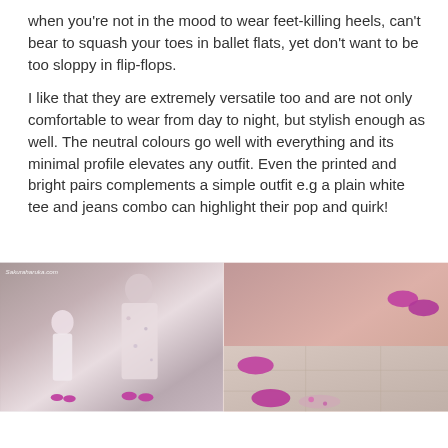when you're not in the mood to wear feet-killing heels, can't bear to squash your toes in ballet flats, yet don't want to be too sloppy in flip-flops.
I like that they are extremely versatile too and are not only comfortable to wear from day to night, but stylish enough as well. The neutral colours go well with everything and its minimal profile elevates any outfit. Even the printed and bright pairs complements a simple outfit e.g a plain white tee and jeans combo can highlight their pop and quirk!
[Figure (photo): Two-panel photo. Left panel: a woman and young girl standing together outdoors wearing matching floral/light outfits and bright pink/magenta flat sandals, with watermark 'Sakuraharuka.com'. Right panel: close-up shots of the same pink/magenta flat sandals on a tiled floor.]
The first time I slipped on my avarcas I was blown away by